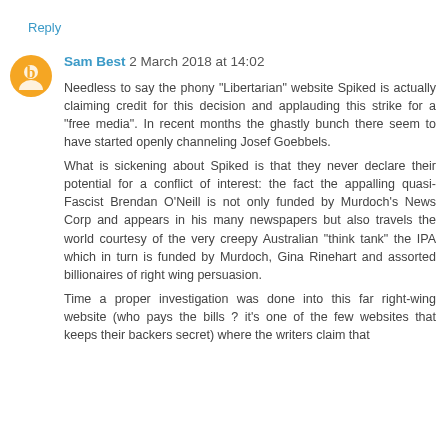Reply
Sam Best 2 March 2018 at 14:02
Needless to say the phony "Libertarian" website Spiked is actually claiming credit for this decision and applauding this strike for a "free media". In recent months the ghastly bunch there seem to have started openly channeling Josef Goebbels.
What is sickening about Spiked is that they never declare their potential for a conflict of interest: the fact the appalling quasi-Fascist Brendan O'Neill is not only funded by Murdoch's News Corp and appears in his many newspapers but also travels the world courtesy of the very creepy Australian "think tank" the IPA which in turn is funded by Murdoch, Gina Rinehart and assorted billionaires of right wing persuasion.
Time a proper investigation was done into this far right-wing website (who pays the bills ? it's one of the few websites that keeps their backers secret) where the writers claim that